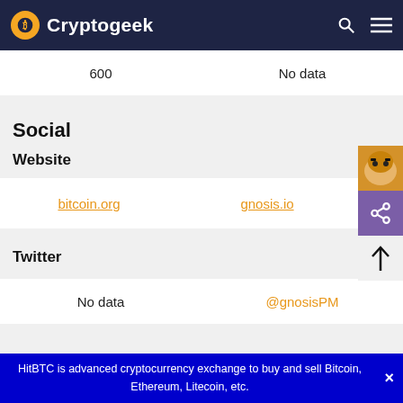Cryptogeek
|  |  |
| --- | --- |
| 600 | No data |
Social
Website
|  |  |
| --- | --- |
| bitcoin.org | gnosis.io |
Twitter
|  |  |
| --- | --- |
| No data | @gnosisPM |
HitBTC is advanced cryptocurrency exchange to buy and sell Bitcoin, Ethereum, Litecoin, etc.